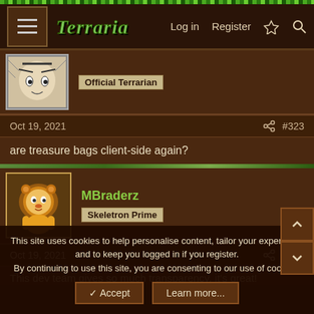Terraria forum navigation bar with Log in, Register, lightning, and search icons
Official Terrarian
Oct 19, 2021  #323
are treasure bags client-side again?
MBraderz
Skeletron Prime
Oct 19, 2021  #324
This dev team gives so much transparency, it's great!
This site uses cookies to help personalise content, tailor your experience and to keep you logged in if you register.
By continuing to use this site, you are consenting to our use of cookies.
✓ Accept  Learn more...